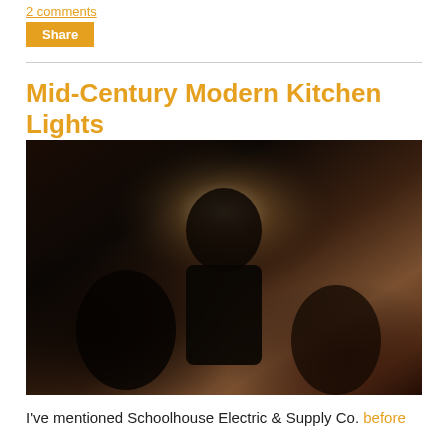2 comments
Share
Mid-Century Modern Kitchen Lights
[Figure (photo): Dark, blurry interior photograph showing silhouetted figures or objects in a dimly lit kitchen or room, with warm brownish tones and a bright glowing area near the top center suggesting a light source.]
I've mentioned Schoolhouse Electric & Supply Co. before